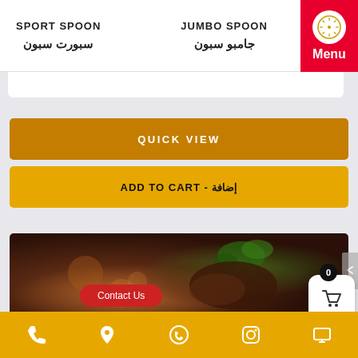SPORT SPOON / سبورت سبون
JUMBO SPOON / جامبو سبون
Menu
QUICK VIEW
ADD TO CART - إضافة
[Figure (photo): Dark food photography showing a dish with garnish and bokeh background]
Contact Us
Bottom navigation bar with phone, location, WhatsApp, Instagram icons